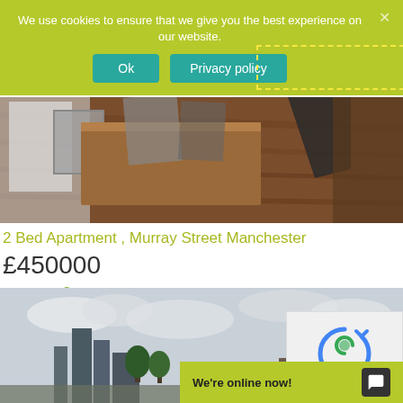We use cookies to ensure that we give you the best experience on our website.
Ok  Privacy policy
[Figure (photo): Interior room photo showing wooden desk and dark hardwood floor]
2 Bed Apartment , Murray Street Manchester
£450000
2  [bed icon]  2  [flag icon]
[Figure (photo): Exterior city photo showing Manchester skyline with buildings and trees under cloudy sky]
We're online now!